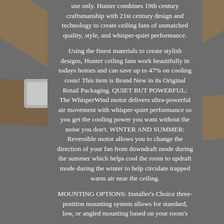[Figure (photo): Ceiling fan with wooden blades visible on left side, right side, and background. Fan hub/motor housing visible on left edge. Dark gray background panel in center.]
use only. Hunter combines 19th century craftsmanship with 21st century design and technology to create ceiling fans of unmatched quality, style, and whisper-quiet performance.

Using the finest materials to create stylish designs, Hunter ceiling fans work beautifully in todays homes and can save up to 47% on cooling costs! This item is Brand New in its Original Retail Packaging. QUIET BUT POWERFUL: The WhisperWind motor delivers ultra-powerful air movement with whisper-quiet performance so you get the cooling power you want without the noise you don't. WINTER AND SUMMER: Reversible motor allows you to change the direction of your fan from downdraft mode during the summer which helps cool the room to updraft mode during the winter to help circulate trapped warm air near the ceiling.

MOUNTING OPTIONS: Installer's Choice three-position mounting system allows for standard, low, or angled mounting based on your room's